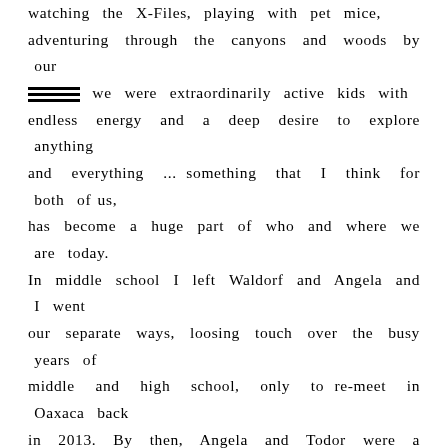watching the X-Files, playing with pet mice, adventuring through the canyons and woods by our [REDACTED] we were extraordinarily active kids with endless energy and a deep desire to explore anything and everything ... something that I think for both of us, has become a huge part of who and where we are today. In middle school I left Waldorf and Angela and I went our separate ways, loosing touch over the busy years of middle and high school, only to re-meet in Oaxaca back in 2013. By then, Angela and Todor were a couple, both of whom live to travel, and landed in Oaxaca for an adventure where we met up, chatting the night away at a local hookah and mezcal bar. I distinctly remember feeling so happy to have re-crossed paths after so many years. Flash forward to 2017, I received and email from Angela about having her wedding in Oaxaca, to which I responded with great delight and fierce excitement, I was probably more excited then they were in that first